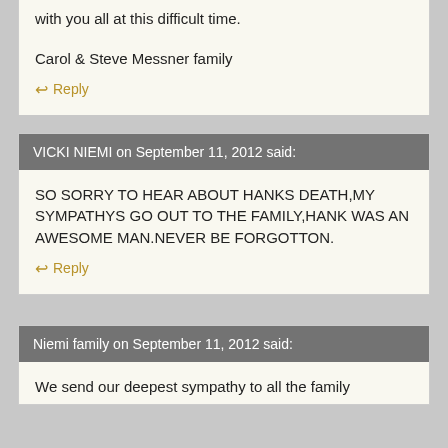with you all at this difficult time.
Carol & Steve Messner family
Reply
VICKI NIEMI on September 11, 2012 said:
SO SORRY TO HEAR ABOUT HANKS DEATH,MY SYMPATHYS GO OUT TO THE FAMILY,HANK WAS AN AWESOME MAN.NEVER BE FORGOTTON.
Reply
Niemi family on September 11, 2012 said:
We send our deepest sympathy to all the family